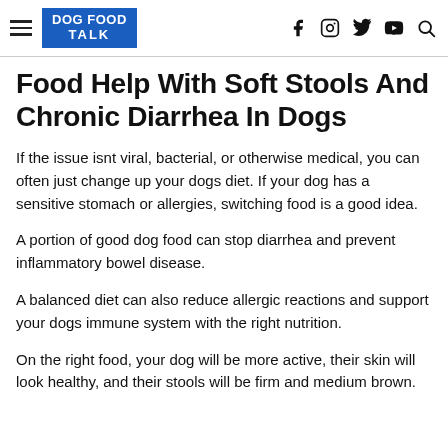DOG FOOD TALK
Food Help With Soft Stools And Chronic Diarrhea In Dogs
If the issue isnt viral, bacterial, or otherwise medical, you can often just change up your dogs diet. If your dog has a sensitive stomach or allergies, switching food is a good idea.
A portion of good dog food can stop diarrhea and prevent inflammatory bowel disease.
A balanced diet can also reduce allergic reactions and support your dogs immune system with the right nutrition.
On the right food, your dog will be more active, their skin will look healthy, and their stools will be firm and medium brown.